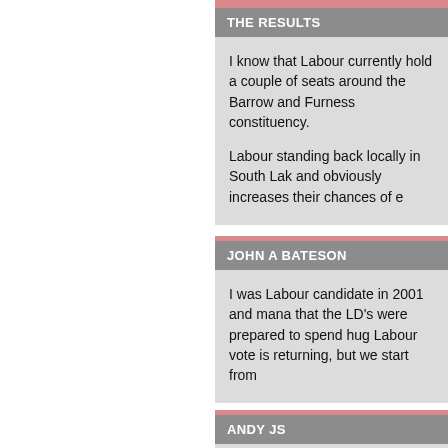THE RESULTS
I know that Labour currently hold a couple of seats around the Barrow and Furness constituency.
Labour standing back locally in South Lak and obviously increases their chances of e
JOHN A BATESON
I was Labour candidate in 2001 and mana that the LD's were prepared to spend hug Labour vote is returning, but we start from
ANDY JS
Cumbria totals:

Con: 39,581 (31.6%)
Lab: 34,876 (27.9%)